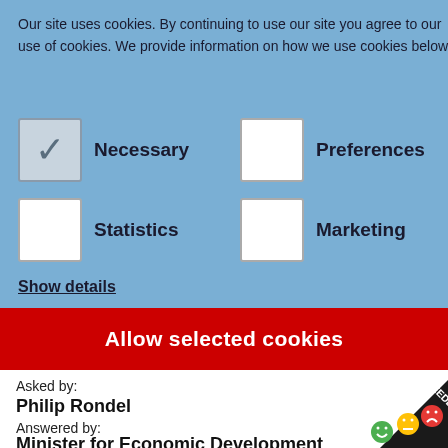Our site uses cookies. By continuing to use our site you agree to our use of cookies. We provide information on how we use cookies below.
Necessary
Preferences
Statistics
Marketing
Show details
Allow selected cookies
Asked by:
Philip Rondel
Answered by:
Minister for Economic Development